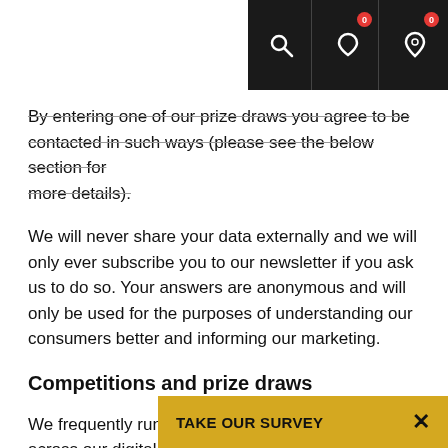Navigation icons with badges (0, 0) on dark header bar
By entering one of our prize draws you agree to be contacted in such ways (please see the below section for more details).
We will never share your data externally and we will only ever subscribe you to our newsletter if you ask us to do so. Your answers are anonymous and will only be used for the purposes of understanding our consumers better and informing our marketing.
Competitions and prize draws
We frequently run competitions and prize draws across our digital channels. Prizes may include travel, accommodation, entry into attractions or festival and event tickets. You can enter these competitions/prize draws through our website or
TAKE OUR SURVEY